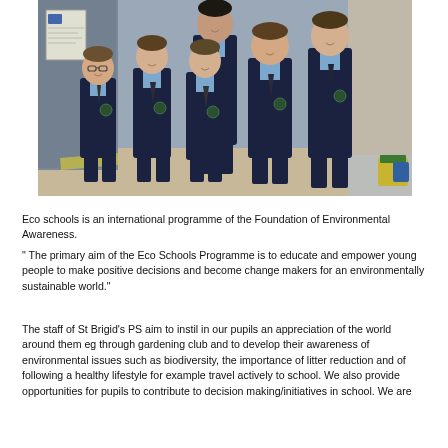[Figure (photo): Group photo of school children and an adult in navy school uniforms with light blue shirts and ties, standing outside a school building.]
Eco schools is an international programme of the Foundation of Environmental Awareness.
" The primary aim of the Eco Schools Programme is to educate and empower young people to make positive decisions and become change makers for an environmentally sustainable world."
The staff of St Brigid's PS aim to instil in our pupils an appreciation of the world around them eg through gardening club and to develop their awareness of environmental issues such as biodiversity, the importance of litter reduction and of following a healthy lifestyle for example travel actively to school. We also provide opportunities for pupils to contribute to decision making/initiatives in school. We are